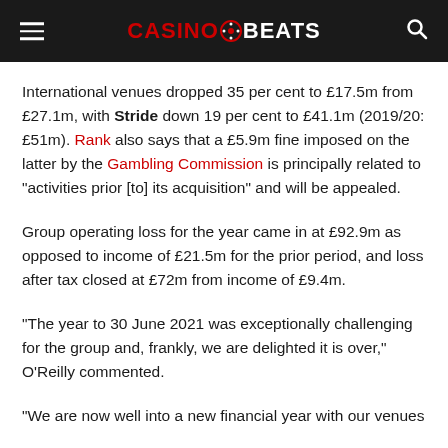CASINOBEATS
International venues dropped 35 per cent to £17.5m from £27.1m, with Stride down 19 per cent to £41.1m (2019/20: £51m). Rank also says that a £5.9m fine imposed on the latter by the Gambling Commission is principally related to “activities prior [to] its acquisition” and will be appealed.
Group operating loss for the year came in at £92.9m as opposed to income of £21.5m for the prior period, and loss after tax closed at £72m from income of £9.4m.
“The year to 30 June 2021 was exceptionally challenging for the group and, frankly, we are delighted it is over,” O’Reilly commented.
“We are now well into a new financial year with our venues